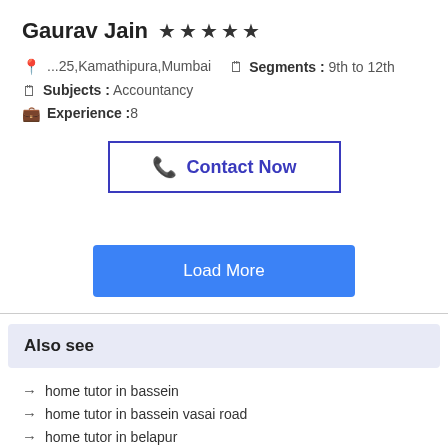Gaurav Jain ★★★★★
📍 ...25,Kamathipura,Mumbai   🗒 Segments : 9th to 12th
🗒 Subjects : Accountancy
💼 Experience :8
📞 Contact Now
Load More
Also see
→ home tutor in bassein
→ home tutor in bassein vasai road
→ home tutor in belapur